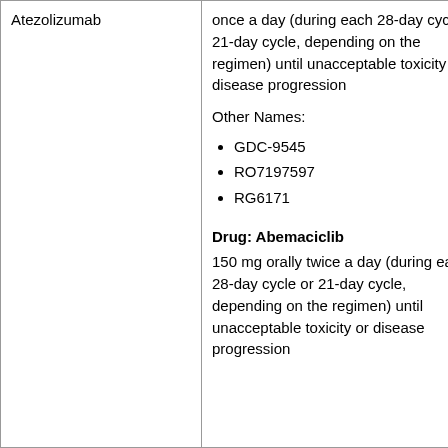| Atezolizumab | once a day (during each 28-day cycle or 21-day cycle, depending on the regimen) until unacceptable toxicity or disease progression
Other Names:
• GDC-9545
• RO7197597
• RG6171

Drug: Abemaciclib
150 mg orally twice a day (during each 28-day cycle or 21-day cycle, depending on the regimen) until unacceptable toxicity or disease progression |